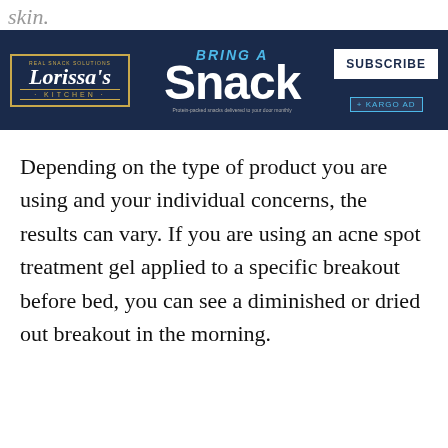skin.
[Figure (other): Advertisement banner for Lorissa's Kitchen featuring 'BRING A Snack' text with a Subscribe button and Kargo Ad tag on dark navy background]
Depending on the type of product you are using and your individual concerns, the results can vary. If you are using an acne spot treatment gel applied to a specific breakout before bed, you can see a diminished or dried out breakout in the morning.